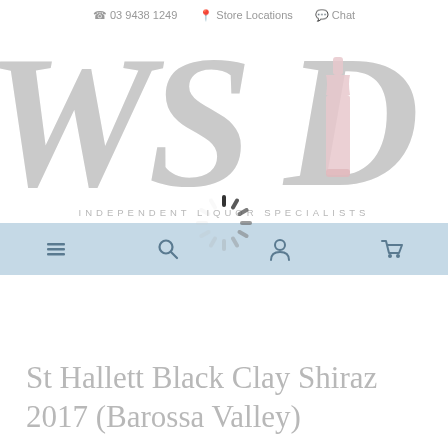☎ 03 9438 1249  📍 Store Locations  💬 Chat
[Figure (logo): WSD Independent Liquor Specialists logo with large italic serif letters W, S, D in light grey and a pink wine bottle icon inside the D]
INDEPENDENT LIQUOR SPECIALISTS
[Figure (screenshot): Light blue navigation bar with hamburger menu, search, loading spinner, user account, and cart icons]
St Hallett Black Clay Shiraz 2017 (Barossa Valley)